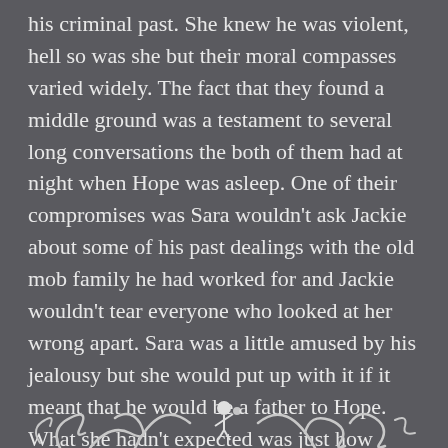his criminal past. She knew he was violent, hell so was she but their moral compasses varied widely. The fact that they found a middle ground was a testament to several long conversations the both of them had at night when Hope was asleep. One of their compromises was Sara wouldn't ask Jackie about some of his past dealings with the old mob family he had worked for and Jackie wouldn't tear everyone who looked at her wrong apart. Sara was a little amused by his jealousy but she would put up with it if it meant that he would be a father to Hope. What she hadn't expected was just how good of a father he had become.
[Figure (illustration): Decorative ornamental divider with curling flourishes and a small figure in the center, rendered in white/light gray against the dark background, partially visible at the bottom of the page.]